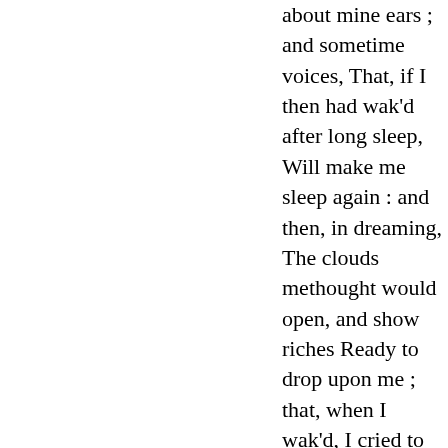about mine ears ; and sometime voices, That, if I then had wak'd after long sleep, Will make me sleep again : and then, in dreaming, The clouds methought would open, and show riches Ready to drop upon me ; that, when I wak'd, I cried to dream again.
1803년 - 2007년에서 236페이지 출처 확인 가능
251 페이지 - I cannot reconcile my heart to Bertram ; a man noble without generosity, and young without truth ; who marries Helen as a coward, and leaves her as a profligate . when she is dead by his unkindness, speaks